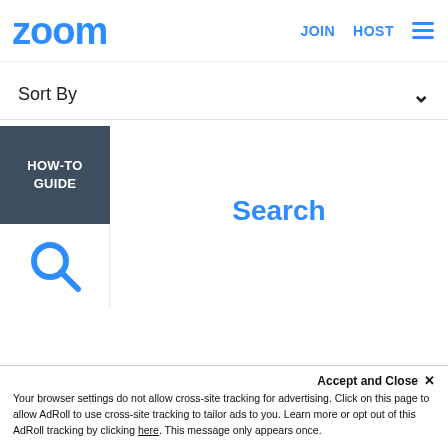zoom | JOIN  HOST
Sort By
HOW-TO GUIDE
Search
[Figure (illustration): Zoom.us website screenshot showing Sort By dropdown, HOW-TO GUIDE filter tag, search icon, and a painting artwork banner (Spencer Gore, A Woodland Park)]
Accept and Close ✕
Your browser settings do not allow cross-site tracking for advertising. Click on this page to allow AdRoll to use cross-site tracking to tailor ads to you. Learn more or opt out of this AdRoll tracking by clicking here. This message only appears once.